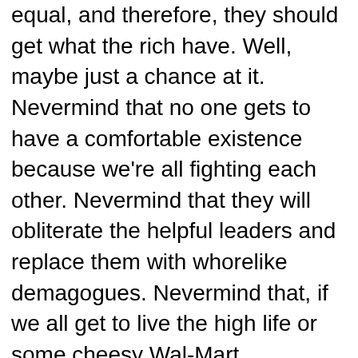equal, and therefore, they should get what the rich have. Well, maybe just a chance at it. Nevermind that no one gets to have a comfortable existence because we're all fighting each other. Nevermind that they will obliterate the helpful leaders and replace them with whorelike demagogues. Nevermind that, if we all get to live the high life or some cheesy Wal-Mart approximation of it, the mathematics are bad: we all breed, all of our children breed, and so on, with each generation taking up more resources than the last until we've exhausted the planet and left a pollution ruin to be fought